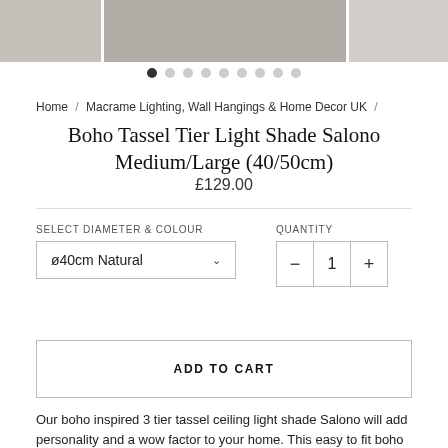[Figure (photo): Product photo strip at top showing boho tassel light shade, with thumbnail on right side]
● ○ ○ ○ ○ ○ ○ ○ ○ (image carousel dots, first active)
Home / Macrame Lighting, Wall Hangings & Home Decor UK /
Boho Tassel Tier Light Shade Salono Medium/Large (40/50cm)
£129.00
SELECT DIAMETER & COLOUR   QUANTITY
ø40cm Natural ∨   − 1 +
ADD TO CART
Our boho inspired 3 tier tassel ceiling light shade Salono will add personality and a wow factor to your home. This easy to fit boho pendant light shade can be a perfect statement piece. This tassel lampshade is made using high quality recycled cotton. Available in natural, pink, yellow, brown and black colour. Handmade in Surrey